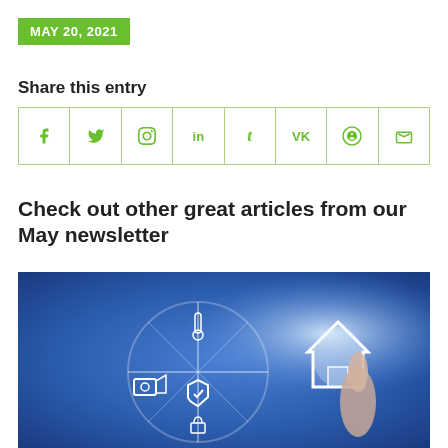MAY 20, 2021
Share this entry
| f | y | p | in | t | vk | reddit | mail |
| --- | --- | --- | --- | --- | --- | --- | --- |
Check out other great articles from our May newsletter
[Figure (photo): Smart home security concept image showing a circular dial with security icons including a camera, shield, lock, home, and thermometer, with a hand pointing at a glowing house icon]